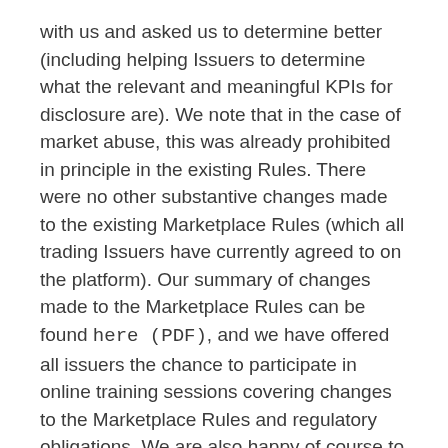with us and asked us to determine better (including helping Issuers to determine what the relevant and meaningful KPIs for disclosure are). We note that in the case of market abuse, this was already prohibited in principle in the existing Rules. There were no other substantive changes made to the existing Marketplace Rules (which all trading Issuers have currently agreed to on the platform). Our summary of changes made to the Marketplace Rules can be found here (PDF), and we have offered all issuers the chance to participate in online training sessions covering changes to the Marketplace Rules and regulatory obligations. We are also happy of course to address any individual queries about the Rules that we receive.
Q: It is not clear which Singapore regulations apply to companies, directors and investors. Do companies become subject to the Securities and